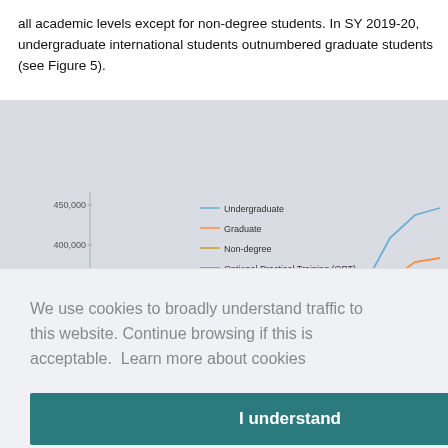all academic levels except for non-degree students. In SY 2019-20, undergraduate international students outnumbered graduate students (see Figure 5).
[Figure (line-chart): Line chart showing academic level of international students from SY 1979-80 to 2019-20. Y-axis visible values: 300,000; 350,000; 400,000; 450,000. Undergraduate line rises steeply to top, Graduate rises to ~380,000, Non-degree flat/slight, OPT rises moderately.]
We use cookies to broadly understand traffic to this website. Continue browsing if this is acceptable.  Learn more about cookies
I understand